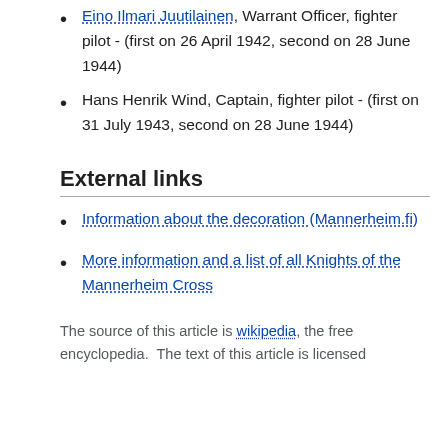Eino Ilmari Juutilainen, Warrant Officer, fighter pilot - (first on 26 April 1942, second on 28 June 1944)
Hans Henrik Wind, Captain, fighter pilot - (first on 31 July 1943, second on 28 June 1944)
External links
Information about the decoration (Mannerheim.fi)
More information and a list of all Knights of the Mannerheim Cross
The source of this article is wikipedia, the free encyclopedia.  The text of this article is licensed